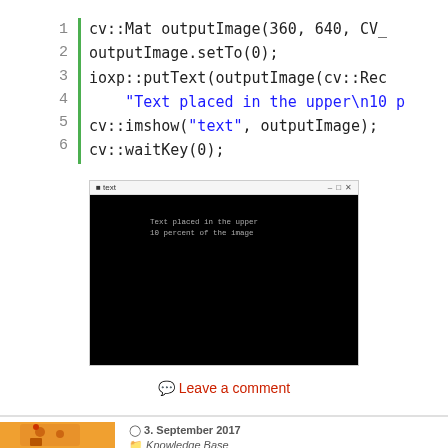[Figure (screenshot): Code block showing 6 lines of C++ OpenCV code with line numbers and a green left border. Lines 1-6: cv::Mat outputImage(360, 640, CV_...), outputImage.setTo(0);, ioxp::putText(outputImage(cv::Rec..., "Text placed in the upper\n10 p..., cv::imshow("text", outputImage);, cv::waitKey(0);]
[Figure (screenshot): Screenshot of an OpenCV window titled 'text' showing a black image with white text 'Text placed in the upper / 10 percent of the image']
Leave a comment
3. September 2017
Knowledge Base